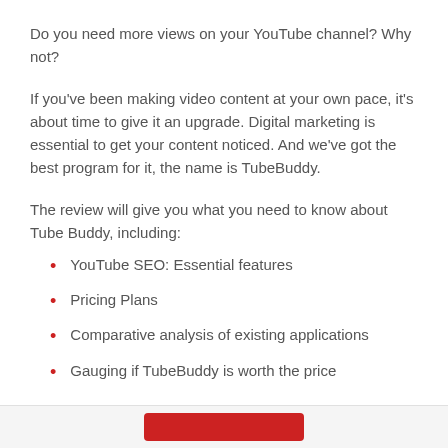Do you need more views on your YouTube channel? Why not?
If you've been making video content at your own pace, it's about time to give it an upgrade. Digital marketing is essential to get your content noticed. And we've got the best program for it, the name is TubeBuddy.
The review will give you what you need to know about Tube Buddy, including:
YouTube SEO: Essential features
Pricing Plans
Comparative analysis of existing applications
Gauging if TubeBuddy is worth the price
The article ends with a verdict. Got it? Let's get right into it!